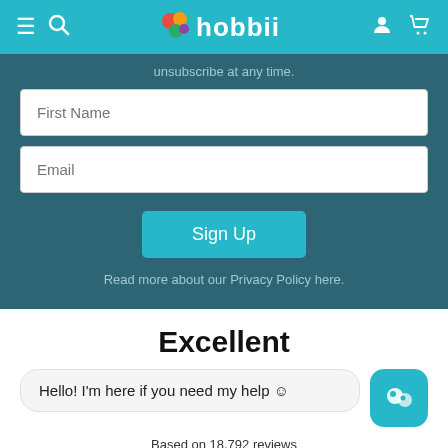hobbii navigation bar with menu, search, logo, user, and cart icons
unsubscribe at any time.
First Name
Email
Sign Up
Read more about our Privacy Policy here.
Excellent
Hello! I'm here if you need my help ☺
Based on 18,792 reviews